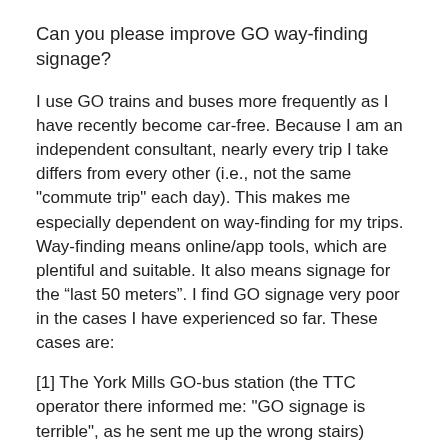Can you please improve GO way-finding signage?
I use GO trains and buses more frequently as I have recently become car-free. Because I am an independent consultant, nearly every trip I take differs from every other (i.e., not the same "commute trip" each day). This makes me especially dependent on way-finding for my trips. Way-finding means online/app tools, which are plentiful and suitable. It also means signage for the “last 50 meters”. I find GO signage very poor in the cases I have experienced so far. These cases are:
[1] The York Mills GO-bus station (the TTC operator there informed me: "GO signage is terrible", as he sent me up the wrong stairs)
[2] The Bramalea GO-bus station (the bus signs have large characters for the bay number (useless)